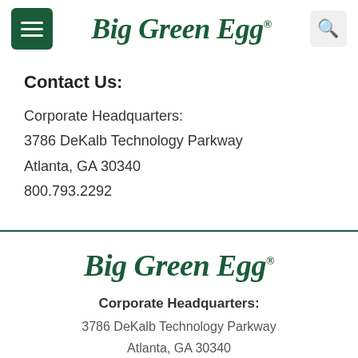Big Green Egg
Contact Us:
Corporate Headquarters:
3786 DeKalb Technology Parkway
Atlanta, GA 30340
800.793.2292
Big Green Egg
Corporate Headquarters:
3786 DeKalb Technology Parkway
Atlanta, GA 30340
800.793.2292